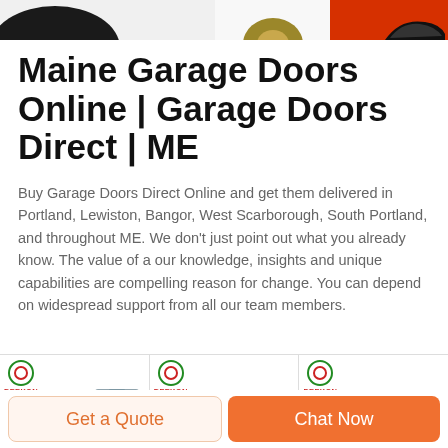[Figure (photo): Top strip showing partial images of a dark hat (left), a gold/brown buckle accessory (center), and red background with dark shoe (right)]
Maine Garage Doors Online | Garage Doors Direct | ME
Buy Garage Doors Direct Online and get them delivered in Portland, Lewiston, Bangor, West Scarborough, South Portland, and throughout ME. We don't just point out what you already know. The value of a our knowledge, insights and unique capabilities are compelling reason for change. You can depend on widespread support from all our team members.
[Figure (photo): Product strip with three cells each showing a DEEKON logo (green circle border, red inner circle, red DEEKON text) plus product images: a grey uniform shirt with black tie, a brown hat, and a teal rectangle]
Get a Quote
Chat Now